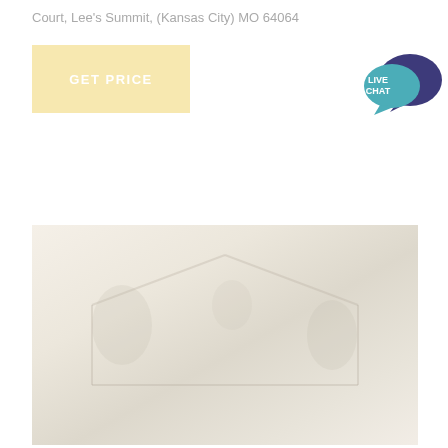Court, Lee's Summit, (Kansas City) MO 64064
[Figure (other): GET PRICE button with light yellow/cream background]
[Figure (other): Live Chat icon with teal speech bubble and dark blue speech bubble overlay with LIVE CHAT text]
[Figure (photo): Faded/washed out exterior photo of a residential property, very light and low contrast showing what appears to be a house with trees]